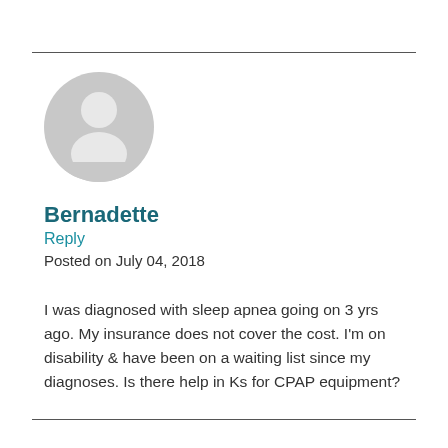[Figure (illustration): Generic user avatar icon — grey circle with silhouette of a person (head and shoulders)]
Bernadette
Reply
Posted on July 04, 2018
I was diagnosed with sleep apnea going on 3 yrs ago. My insurance does not cover the cost. I’m on disability & have been on a waiting list since my diagnoses. Is there help in Ks for CPAP equipment?